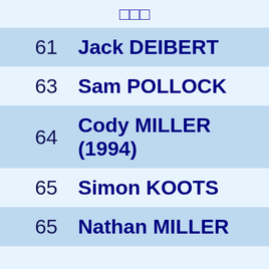□□□
| # | Name |
| --- | --- |
| 61 | Jack DEIBERT |
| 63 | Sam POLLOCK |
| 64 | Cody MILLER (1994) |
| 65 | Simon KOOTS |
| 65 | Nathan MILLER |